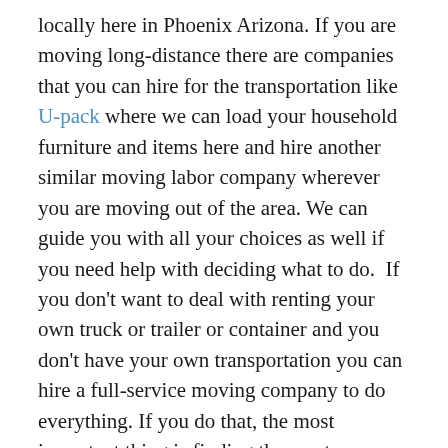locally here in Phoenix Arizona. If you are moving long-distance there are companies that you can hire for the transportation like U-pack where we can load your household furniture and items here and hire another similar moving labor company wherever you are moving out of the area. We can guide you with all your choices as well if you need help with deciding what to do.  If you don't want to deal with renting your own truck or trailer or container and you don't have your own transportation you can hire a full-service moving company to do everything. If you do that, the most important thing is finding the most reputable company you can find with many 5 star reviews online. There are a lot of bad moving companies out there and very few great ones. Do your research and find the best company that seems to be very professional and as you begin reaching out to them be sure they are communicative and